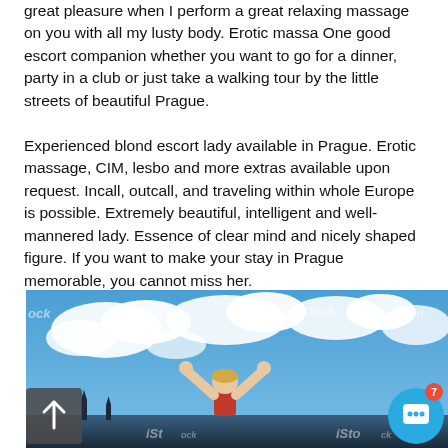great pleasure when I perform a great relaxing massage on you with all my lusty body. Erotic massa One good escort companion whether you want to go for a dinner, party in a club or just take a walking tour by the little streets of beautiful Prague. Experienced blond escort lady available in Prague. Erotic massage, CIM, lesbo and more extras available upon request. Incall, outcall, and traveling within whole Europe is possible. Extremely beautiful, intelligent and well-mannered lady. Essence of clear mind and nicely shaped figure. If you want to make your stay in Prague memorable, you cannot miss her.
[Figure (photo): Stock photo of a blonde woman in a red top with arms raised against a blue sky with clouds, with watermarked iStock logos visible across the image. Prague skyline visible at bottom. UI elements: scroll-to-top button (bottom left) and chat button with badge showing 7 (bottom right).]